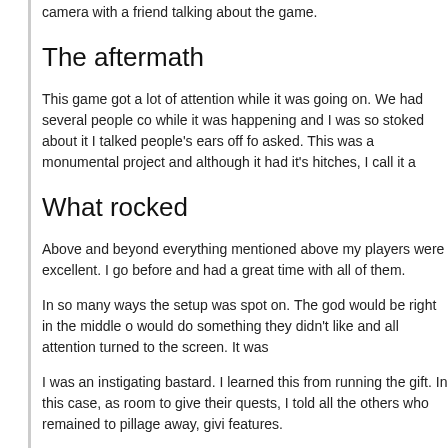camera with a friend talking about the game.
The aftermath
This game got a lot of attention while it was going on. We had several people co while it was happening and I was so stoked about it I talked people's ears off fo asked. This was a monumental project and although it had it's hitches, I call it a
What rocked
Above and beyond everything mentioned above my players were excellent. I go before and had a great time with all of them.
In so many ways the setup was spot on. The god would be right in the middle o would do something they didn't like and all attention turned to the screen. It was
I was an instigating bastard. I learned this from running the gift. In this case, as room to give their quests, I told all the others who remained to pillage away, givi features.
Travis was amazing. He had to run a game as though there were 7 GMs (himse awesome job. The heroes had figured out something was going on within an ho but he still kept them having a great time despite a constant influx of commands
The one God, one Hero setup worked great. After the God were picked Travis to choose from as their favored deity. This created some great personal connectio